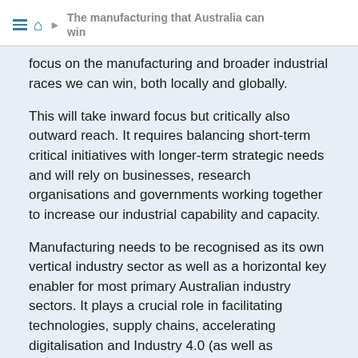The manufacturing that Australia can win
focus on the manufacturing and broader industrial races we can win, both locally and globally.
This will take inward focus but critically also outward reach. It requires balancing short-term critical initiatives with longer-term strategic needs and will rely on businesses, research organisations and governments working together to increase our industrial capability and capacity.
Manufacturing needs to be recognised as its own vertical industry sector as well as a horizontal key enabler for most primary Australian industry sectors. It plays a crucial role in facilitating technologies, supply chains, accelerating digitalisation and Industry 4.0 (as well as associated new business models) for many industries in Australia.
This shift in understanding will ensure manufacturing is given the correct attention and resources to rebuild and